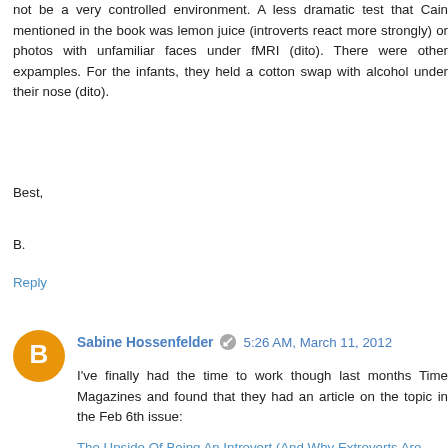not be a very controlled environment. A less dramatic test that Cain mentioned in the book was lemon juice (introverts react more strongly) or photos with unfamiliar faces under fMRI (dito). There were other expamples. For the infants, they held a cotton swap with alcohol under their nose (dito). Best,
B.
Reply
Sabine Hossenfelder  5:26 AM, March 11, 2012
I've finally had the time to work though last months Time Magazines and found that they had an article on the topic in the Feb 6th issue:
The Upside Of Being An Introvert (And Why Extroverts Are Overrated)
The article is pretty good, it's not a review of Cain's book, but mentions her book. Unfortunately, it's subscription only. Best,